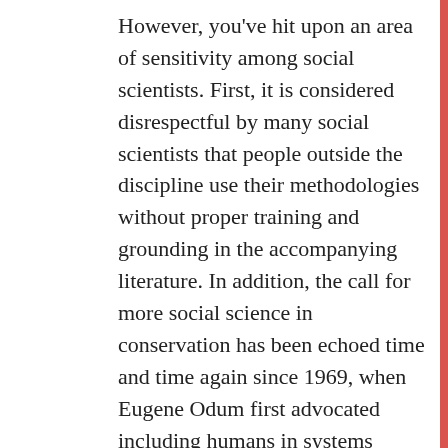However, you've hit upon an area of sensitivity among social scientists. First, it is considered disrespectful by many social scientists that people outside the discipline use their methodologies without proper training and grounding in the accompanying literature. In addition, the call for more social science in conservation has been echoed time and time again since 1969, when Eugene Odum first advocated including humans in systems ecology. In the marine realm, the concept you've called social oceanography was specifically called for by Jane Lubchenco in a 1998 Science paper as critical to future conservation efforts. The issue may not be an awareness